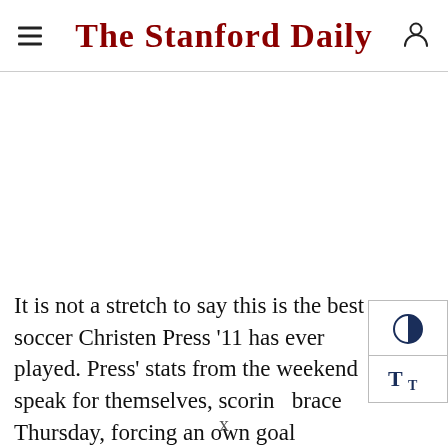The Stanford Daily
It is not a stretch to say this is the best soccer Christen Press '11 has ever played. Press' stats from the weekend speak for themselves, scoring a brace Thursday, forcing an own goal Monday and having a goal called offside on Monday as well